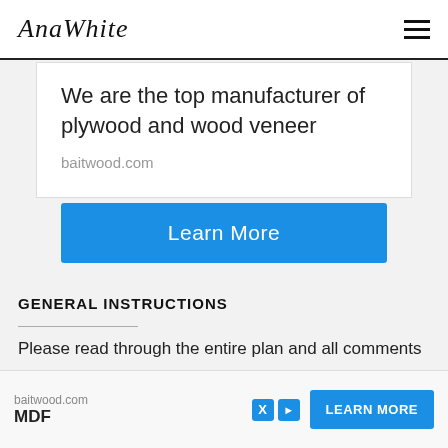AnaWhite
We are the top manufacturer of plywood and wood veneer
baitwood.com
Learn More
GENERAL INSTRUCTIONS
Please read through the entire plan and all comments before beginning this project. It is also adv... ...ake all ...rly.
[Figure (screenshot): Bottom banner ad showing baitwood.com, MDF text, X and play icons, and a blue LEARN MORE button]